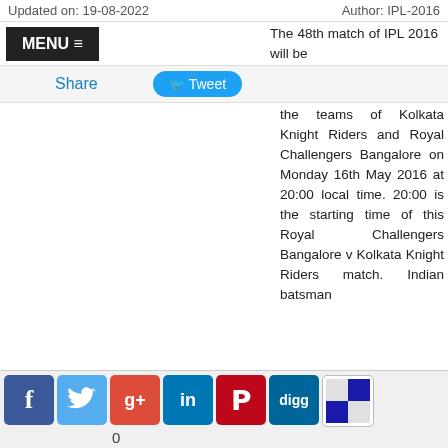Updated on: 19-08-2022    Author: IPL-2016
MENU ≡
Share   Tweet
The 48th match of IPL 2016 will be the teams of Kolkata Knight Riders and Royal Challengers Bangalore on Monday 16th May 2016 at 20:00 local time. 20:00 is the starting time of this Royal Challengers Bangalore v Kolkata Knight Riders match. Indian batsman Gautam Gambhir is the captain of KKR team while the captain of RCB team is another Indian batsman Virat Kohli. Main players in Kolkata Knight Riders team are Brad Hogg, Sunil Narine, Andre Russell and Yusuf Pathan while there are also several experienced international players in Royal Challengers Bangalore
[Figure (infographic): Social sharing icons: Facebook, Twitter, Google+, LinkedIn, Pinterest, Digg, ShareThis, with share count 0]